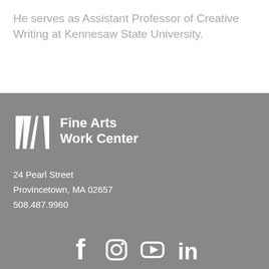He serves as Assistant Professor of Creative Writing at Kennesaw State University.
[Figure (logo): Fine Arts Work Center logo with white geometric W mark and text 'Fine Arts Work Center' on grey background]
24 Pearl Street
Provincetown, MA 02657
508.487.9960
[Figure (infographic): Social media icons: Facebook, Instagram, YouTube, LinkedIn in white on grey background]